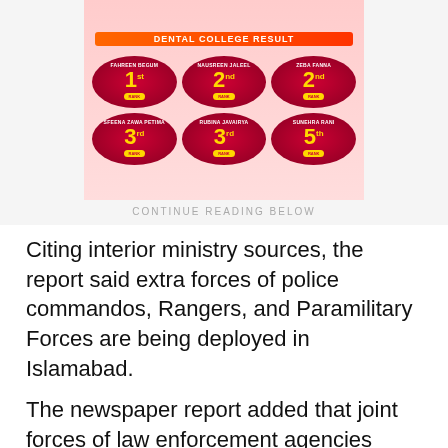[Figure (infographic): Ranking infographic showing students with 1st, 2nd, 2nd, 3rd, 3rd, and 5th rank positions displayed in red oval/bubble shapes with yellow numbers on a pink background. Names include Fahreen Begum (1st), Nausreen Jaleel (2nd), Zeba Fanna (2nd), Sfeena Zawa Petima (3rd), Rubina Javairya (3rd), Sunehra Rani (5th).]
CONTINUE READING BELOW
Citing interior ministry sources, the report said extra forces of police commandos, Rangers, and Paramilitary Forces are being deployed in Islamabad.
The newspaper report added that joint forces of law enforcement agencies have been positioned around the federal capital as first-tier protect the capital city in the perspective of attack like Balochistan.